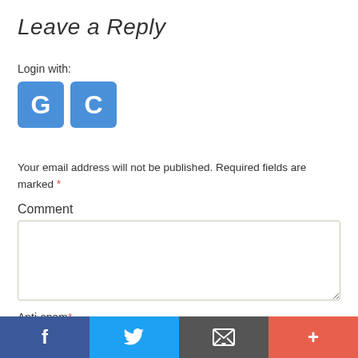Leave a Reply
Login with:
[Figure (other): Two blue square login buttons labeled G (Google) and C (Civic)]
Your email address will not be published. Required fields are marked *
Comment
Anti-spam*
Anti-spam word (placeholder input)
To prove you are a person (not a spam script), type the words from the
Social share bar: Facebook, Twitter, Email, Plus